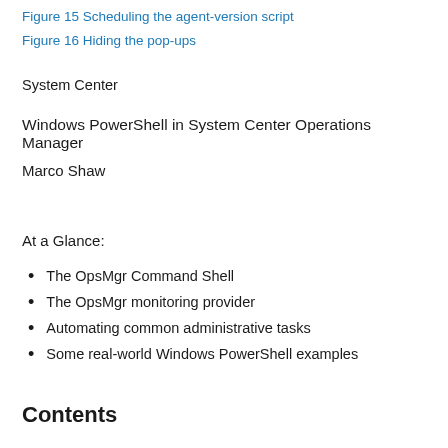Figure 15 Scheduling the agent-version script
Figure 16 Hiding the pop-ups
System Center
Windows PowerShell in System Center Operations Manager
Marco Shaw
At a Glance:
The OpsMgr Command Shell
The OpsMgr monitoring provider
Automating common administrative tasks
Some real-world Windows PowerShell examples
Contents